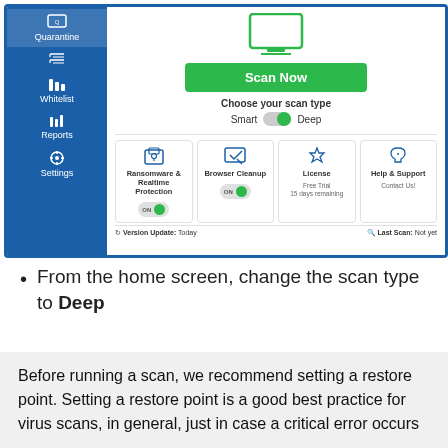[Figure (screenshot): Antivirus software home screen showing Scan Now button, scan type toggle (Smart/Deep), and feature cards: Ransomware & Realtime Protection (ON), Browser Cleanup (ON), License (Free Trial, 15 days remaining), Help & Support (Contact Us). Left sidebar shows Quarantine, checklist, Whitelist, Reports, Settings. Bottom bar shows Version Update: Today and Last Scan: Not yet.]
From the home screen, change the scan type to Deep
Before running a scan, we recommend setting a restore point. Setting a restore point is a good best practice for virus scans, in general, just in case a critical error occurs